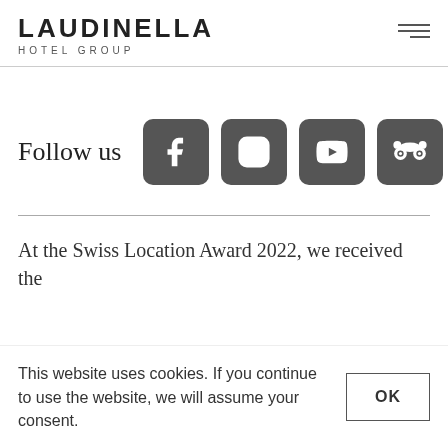LAUDINELLA HOTEL GROUP
[Figure (infographic): Social media icons: Facebook, Instagram, YouTube, TripAdvisor with 'Follow us' label]
At the Swiss Location Award 2022, we received the
This website uses cookies. If you continue to use the website, we will assume your consent.